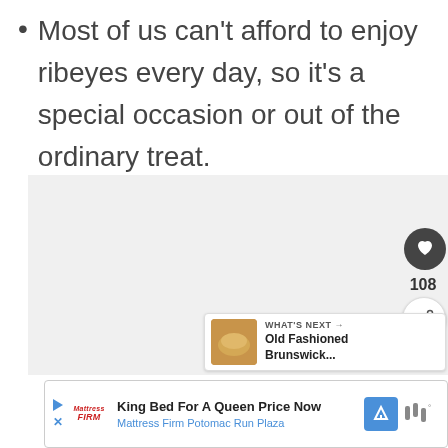Most of us can't afford to enjoy ribeyes every day, so it's a special occasion or out of the ordinary treat.
[Figure (screenshot): A light gray image placeholder area with social interaction buttons: a heart/like button (108 likes), a share button, and a 'What's Next' card showing 'Old Fashioned Brunswick...' with a thumbnail of a bowl of food.]
[Figure (infographic): An advertisement banner for Mattress Firm showing 'King Bed For A Queen Price Now' and 'Mattress Firm Potomac Run Plaza' with a blue navigation arrow icon and a weather/temperature icon.]